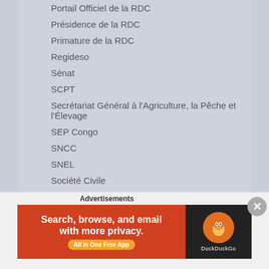Portail Officiel de la RDC
Présidence de la RDC
Primature de la RDC
Regideso
Sénat
SCPT
Secrétariat Général à l'Agriculture, la Pêche et l'Élevage
SEP Congo
SNCC
SNEL
Société Civile
Katanga
Advertisements
[Figure (screenshot): DuckDuckGo advertisement banner: 'Search, browse, and email with more privacy. All in One Free App']